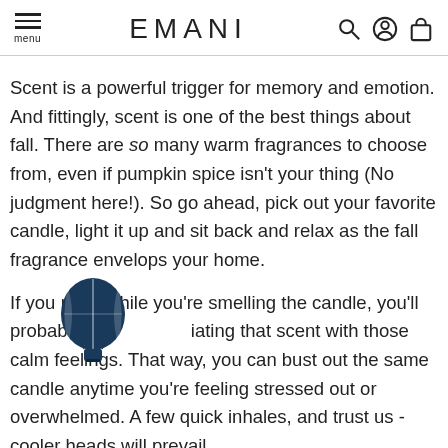menu | EMANI
Scent is a powerful trigger for memory and emotion. And fittingly, scent is one of the best things about fall. There are so many warm fragrances to choose from, even if pumpkin spice isn't your thing (No judgment here!). So go ahead, pick out your favorite candle, light it up and sit back and relax as the fall fragrance envelops your home.
If you relax while you're smelling the candle, you'll probably start associating that scent with those calm feelings. That way, you can bust out the same candle anytime you're feeling stressed out or overwhelmed. A few quick inhales, and trust us - cooler heads will prevail.
[Figure (logo): Hot air balloon logo icon (CorelDRAW balloon icon) overlaid on text]